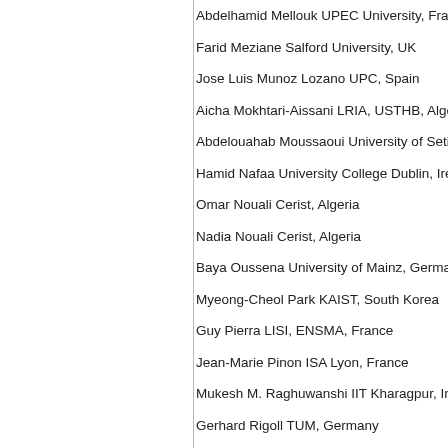Abdelhamid Mellouk UPEC University, France
Farid Meziane Salford University, UK
Jose Luis Munoz Lozano UPC, Spain
Aicha Mokhtari-Aissani LRIA, USTHB, Algeria
Abdelouahab Moussaoui University of Setif, Algeria
Hamid Nafaa University College Dublin, Ireland
Omar Nouali Cerist, Algeria
Nadia Nouali Cerist, Algeria
Baya Oussena University of Mainz, Germany
Myeong-Cheol Park KAIST, South Korea
Guy Pierra LISI, ENSMA, France
Jean-Marie Pinon ISA Lyon, France
Mukesh M. Raghuwanshi IIT Kharagpur, India
Gerhard Rigoll TUM, Germany
Joel Rodrigues University of Beira Interior, Portugal